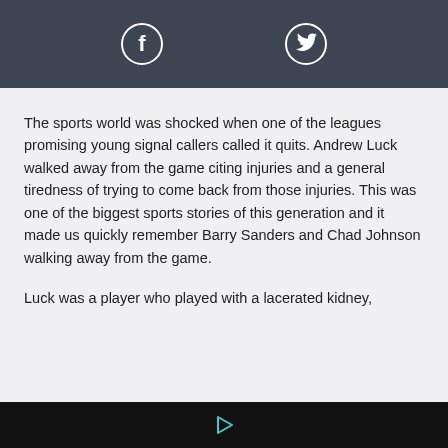[Figure (other): Social media share bar with Facebook and Twitter icons on dark background]
The sports world was shocked when one of the leagues promising young signal callers called it quits. Andrew Luck walked away from the game citing injuries and a general tiredness of trying to come back from those injuries. This was one of the biggest sports stories of this generation and it made us quickly remember Barry Sanders and Chad Johnson walking away from the game.
Luck was a player who played with a lacerated kidney,
[Figure (other): Black footer bar with a cyan/teal play button triangle icon]